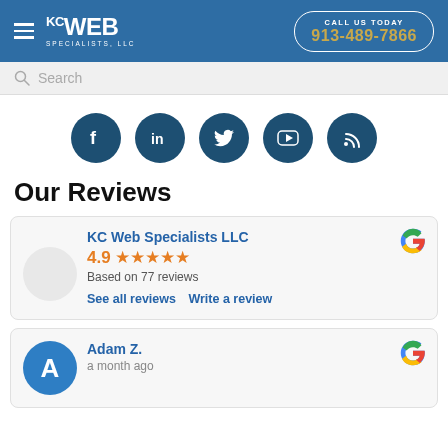KC Web Specialists LLC — CALL US TODAY 913-489-7866
[Figure (screenshot): Search bar with magnifying glass icon and placeholder text 'Search']
[Figure (infographic): Row of 5 social media icon circles (Facebook, LinkedIn, Twitter, YouTube, RSS)]
Our Reviews
[Figure (infographic): Google review card for KC Web Specialists LLC showing 4.9 rating based on 77 reviews with 5 stars, See all reviews and Write a review links]
[Figure (infographic): Google review card showing reviewer Adam Z., a month ago]